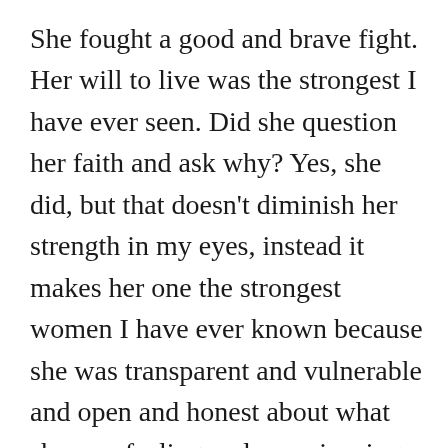She fought a good and brave fight. Her will to live was the strongest I have ever seen. Did she question her faith and ask why? Yes, she did, but that doesn't diminish her strength in my eyes, instead it makes her one the strongest women I have ever known because she was transparent and vulnerable and open and honest about what she was feeling and experiencing and she didn't shy away from that. In the midst of her battle I watched her ask the hard questions but never once did I see her waiver from the fact that she knew her God, was a good father who loved her and she loved Him back. I learned from her story that God can handle our questions, our anger